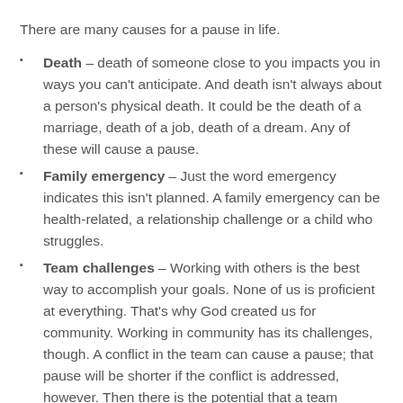There are many causes for a pause in life.
Death – death of someone close to you impacts you in ways you can't anticipate. And death isn't always about a person's physical death. It could be the death of a marriage, death of a job, death of a dream. Any of these will cause a pause.
Family emergency – Just the word emergency indicates this isn't planned. A family emergency can be health-related, a relationship challenge or a child who struggles.
Team challenges – Working with others is the best way to accomplish your goals. None of us is proficient at everything. That's why God created us for community. Working in community has its challenges, though. A conflict in the team can cause a pause; that pause will be shorter if the conflict is addressed, however. Then there is the potential that a team member may leave the team. Sometimes it's time and they need to move on. What do